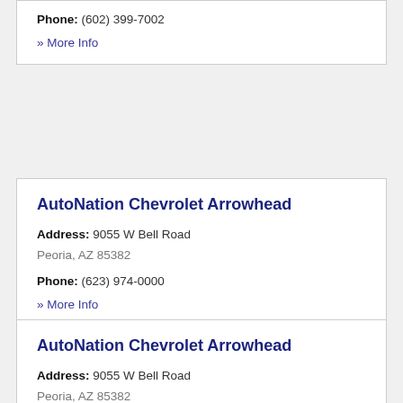Phone: (602) 399-7002
» More Info
AutoNation Chevrolet Arrowhead
Address: 9055 W Bell Road
Peoria, AZ 85382
Phone: (623) 974-0000
» More Info
AutoNation Chevrolet Arrowhead
Address: 9055 W Bell Road
Peoria, AZ 85382
Phone: (623) 748-0880
» More Info